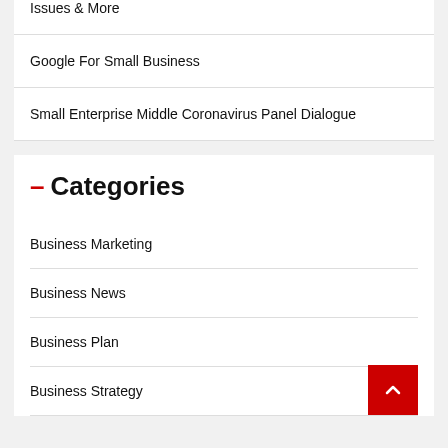Issues & More
Google For Small Business
Small Enterprise Middle Coronavirus Panel Dialogue
– Categories
Business Marketing
Business News
Business Plan
Business Strategy